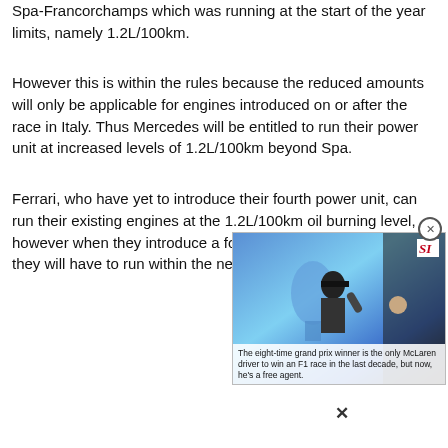Spa-Francorchamps which was running at the start of the year limits, namely 1.2L/100km.
However this is within the rules because the reduced amounts will only be applicable for engines introduced on or after the race in Italy. Thus Mercedes will be entitled to run their power unit at increased levels of 1.2L/100km beyond Spa.
Ferrari, who have yet to introduce their fourth power unit, can run their existing engines at the 1.2L/100km oil burning level, however when they introduce a fourth edition of their engine they will have to run within the new 0.9L/100km restrictions.
[Figure (screenshot): Video thumbnail overlay with SI logo in top right corner, showing a racing driver holding a trophy. Caption reads: 'The eight-time grand prix winner is the only McLaren driver to win an F1 race in the last decade, but now, he's a free agent.']
×